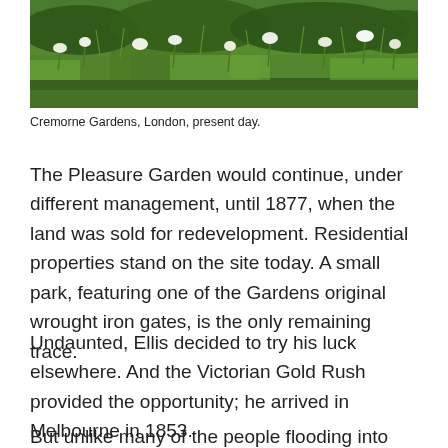[Figure (photo): Photograph of Cremorne Gardens, London, present day. Shows green grass with white flowers/daffodils growing in a garden setting.]
Cremorne Gardens, London, present day.
The Pleasure Garden would continue, under different management, until 1877, when the land was sold for redevelopment. Residential properties stand on the site today. A small park, featuring one of the Gardens original wrought iron gates, is the only remaining trace.
Undaunted, Ellis decided to try his luck elsewhere. And the Victorian Gold Rush provided the opportunity; he arrived in Melbourne in 1853.
But unlike many of the people flooding into Victoria to